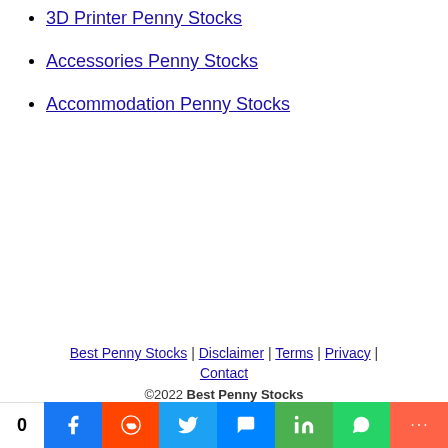3D Printer Penny Stocks
Accessories Penny Stocks
Accommodation Penny Stocks
Best Penny Stocks | Disclaimer | Terms | Privacy | Contact
©2022 Best Penny Stocks